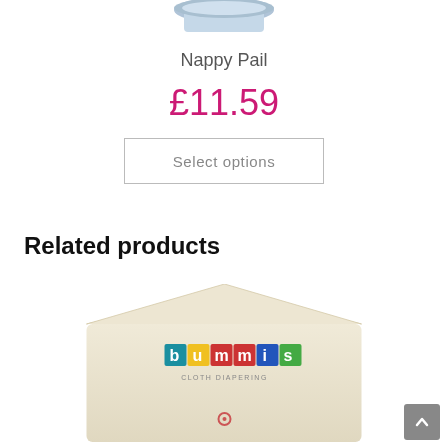[Figure (photo): Partial top view of a blue nappy pail product]
Nappy Pail
£11.59
Select options
Related products
[Figure (photo): Bummis cloth diapering cream/beige envelope-style wet bag with Bummis logo]